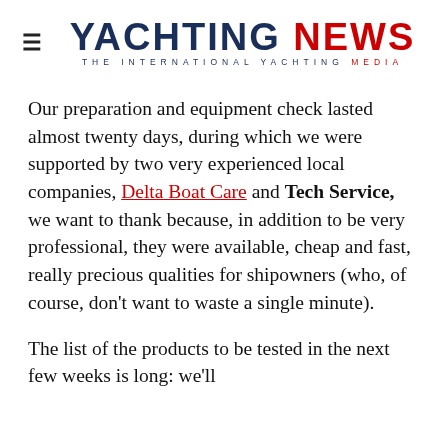≡  YACHTING NEWS  THE INTERNATIONAL YACHTING MEDIA
Our preparation and equipment check lasted almost twenty days, during which we were supported by two very experienced local companies, Delta Boat Care and Tech Service, we want to thank because, in addition to be very professional, they were available, cheap and fast, really precious qualities for shipowners (who, of course, don't want to waste a single minute).
The list of the products to be tested in the next few weeks is long: we'll